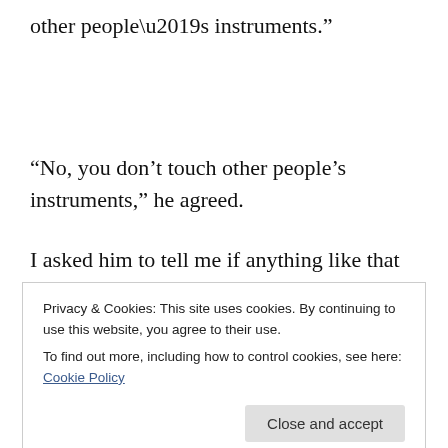other people’s instruments.”
“No, you don’t touch other people’s instruments,” he agreed.
I asked him to tell me if anything like that happened again, and our conversation moved on to other things. He’s sad because he can’t get that performance back. I think he
play.
Privacy & Cookies: This site uses cookies. By continuing to use this website, you agree to their use.
To find out more, including how to control cookies, see here: Cookie Policy